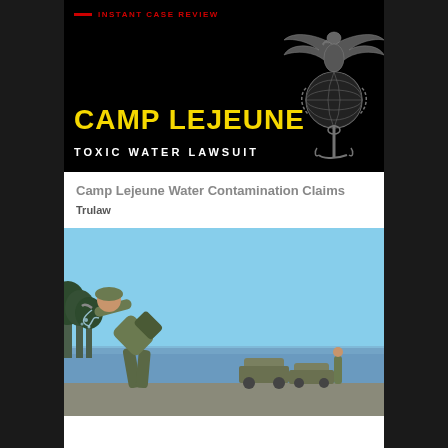[Figure (photo): Camp Lejeune Toxic Water Lawsuit banner with USMC Eagle Globe and Anchor emblem on black background, with red 'INSTANT CASE REVIEW' label, yellow 'CAMP LEJEUNE' title, and white 'TOXIC WATER LAWSUIT' subtitle]
Camp Lejeune Water Contamination Claims
Trulaw
[Figure (photo): A soldier in camouflage uniform drinking water from a hose or faucet outdoors, with a blue sky, trees, and water in the background]